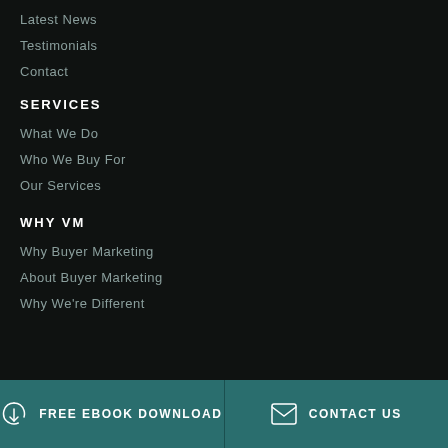Latest News
Testimonials
Contact
SERVICES
What We Do
Who We Buy For
Our Services
WHY VM
Why Buyer Marketing
About Buyer Marketing
Why We're Different
FREE EBOOK DOWNLOAD   CONTACT US